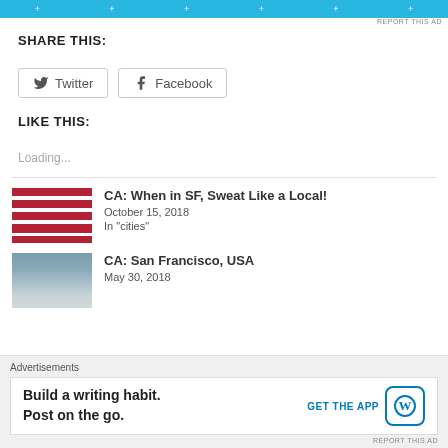[Figure (screenshot): Blue ad banner at top of page with white plus signs]
REPORT THIS AD
SHARE THIS:
Twitter Facebook (share buttons)
LIKE THIS:
Loading...
CA: When in SF, Sweat Like a Local!
October 15, 2018
In "cities"
CA: San Francisco, USA
May 30, 2018
Advertisements
Build a writing habit. Post on the go.
GET THE APP
REPORT THIS AD